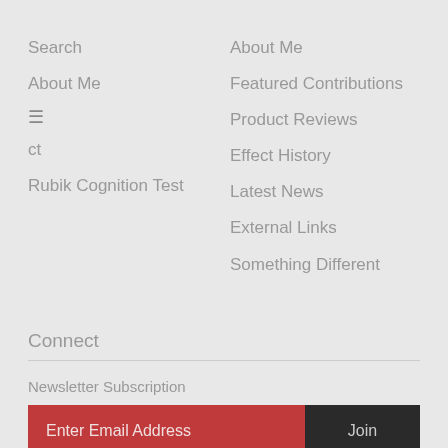Search
About Me
ct
Rubik Cognition Test
About Me
Featured Contributions
Product Reviews
Effect History
Latest News
External Links
Something Different
Connect
Newsletter Subscription
Enter Email Address
Join